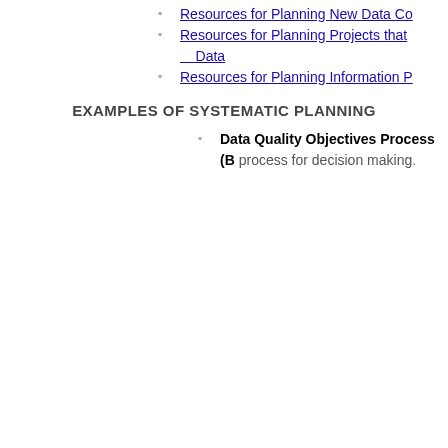Resources for Planning New Data Co...
Resources for Planning Projects that... Data
Resources for Planning Information P...
EXAMPLES OF SYSTEMATIC PLANNING
Data Quality Objectives Process (B... process for decision making.
Guidance on Systematic Plann... Data Quality Objectives Proces... contains guidance on how to pe... Quality Objectives Process. Cla... Terminology for the EPA Quality... 124KB). Memorandum from No... dated March 2, 1999 that clarifi... "data quality objectives" vs. "ac... performance criteria."
Systematic Planning: A Case S... Hazardous Waste Site Investig... KB) contains examples on appl... Quality Objectives process to h... site investigations.